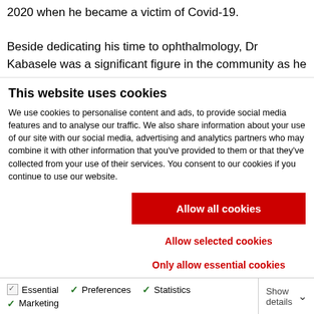2020 when he became a victim of Covid-19.

Beside dedicating his time to ophthalmology, Dr Kabasele was a significant figure in the community as he fulfilled multiple roles including visionary and senior pastor of the Rock of Ages
This website uses cookies
We use cookies to personalise content and ads, to provide social media features and to analyse our traffic. We also share information about your use of our site with our social media, advertising and analytics partners who may combine it with other information that you've provided to them or that they've collected from your use of their services. You consent to our cookies if you continue to use our website.
Allow all cookies
Allow selected cookies
Only allow essential cookies
| Essential | Preferences | Statistics | Show details |
| --- | --- | --- | --- |
| ✓ Essential | ✓ Preferences | ✓ Statistics | Show details ˅ |
| ✓ Marketing |  |  |  |